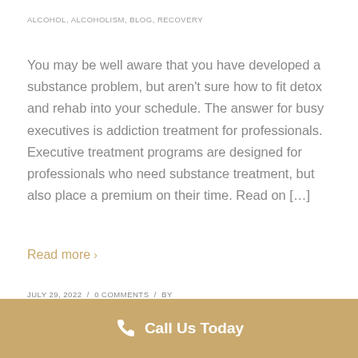ALCOHOL, ALCOHOLISM, BLOG, RECOVERY
You may be well aware that you have developed a substance problem, but aren’t sure how to fit detox and rehab into your schedule. The answer for busy executives is addiction treatment for professionals. Executive treatment programs are designed for professionals who need substance treatment, but also place a premium on their time. Read on […]
Read more ›
JULY 29, 2022  /  0 COMMENTS  /  BY EXECUTIVE7DAYDETOX
Call Us Today